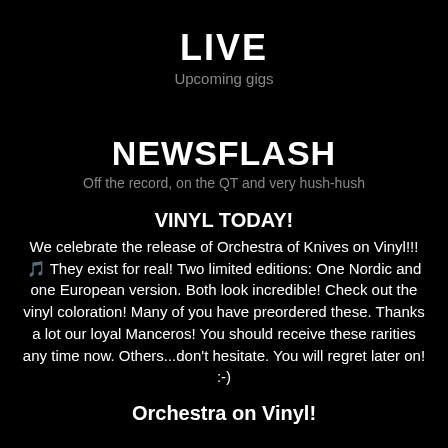LIVE
Upcoming gigs
NEWSFLASH
Off the record, on the QT and very hush-hush
VINYL TODAY!
We celebrate the release of Orchestra of Knives on Vinyl!!!🎵 They exist for real! Two limited editions: One Nordic and one European version. Both look incredible! Check out the vinyl coloration! Many of you have preordered these. Thanks a lot our loyal Manceros! You should receive these rarities any time now. Others...don't hesitate. You will regret later on! :-)
Orchestra on Vinyl!